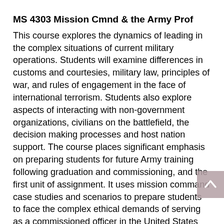MS 4303 Mission Cmnd & the Army Prof
This course explores the dynamics of leading in the complex situations of current military operations. Students will examine differences in customs and courtesies, military law, principles of war, and rules of engagement in the face of international terrorism. Students also explore aspects of interacting with non-government organizations, civilians on the battlefield, the decision making processes and host nation support. The course places significant emphasis on preparing students for future Army training following graduation and commissioning, and the first unit of assignment. It uses mission command case studies and scenarios to prepare students to face the complex ethical demands of serving as a commissioned officer in the United States Army. Students will explore military